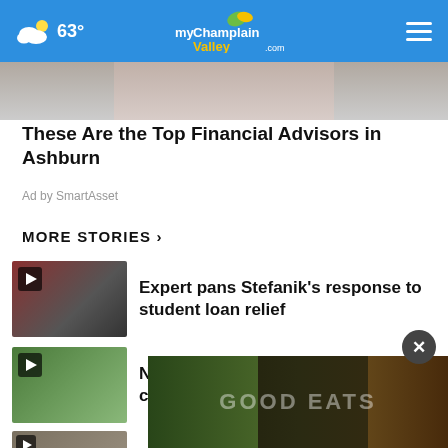63° myChamplainValley.com
[Figure (photo): Partial photo of a person with gray hair (advertisement image)]
These Are the Top Financial Advisors in Ashburn
Ad by SmartAsset
MORE STORIES ›
Expert pans Stefanik's response to student loan relief
New York begins accepting retail cannabis applications
Alex Jones lawyer takes the P…
Broken trust still felt in Uvalde as…
[Figure (photo): Advertisement overlay showing vegetables and food with text GOOD EATS]